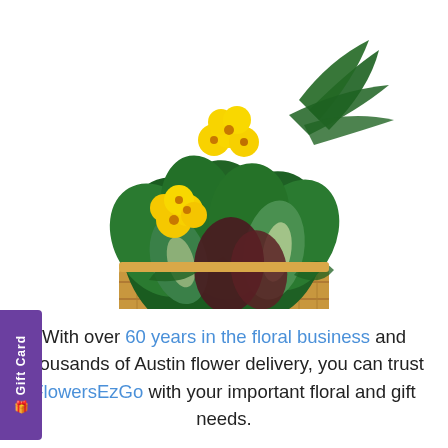[Figure (photo): A wicker basket filled with lush green tropical plants and yellow flowers (clivia/primrose style), photographed against a white background.]
With over 60 years in the floral business and thousands of Austin flower delivery, you can trust FlowersEzGo with your important floral and gift needs.